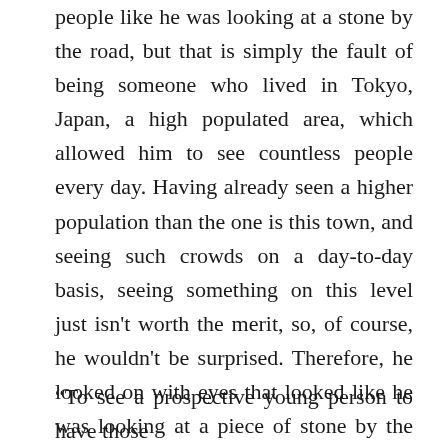people like he was looking at a stone by the road, but that is simply the fault of being someone who lived in Tokyo, Japan, a high populated area, which allowed him to see countless people every day. Having already seen a higher population than the one is this town, and seeing such crowds on a day-to-day basis, seeing something on this level just isn't worth the merit, so, of course, he wouldn't be surprised. Therefore, he looked on with eyes that looked like he was looking at a piece of stone by the road. But, to the three people who did not know that, his eyes just looked dead to them.
“To see a prospective young person to have those